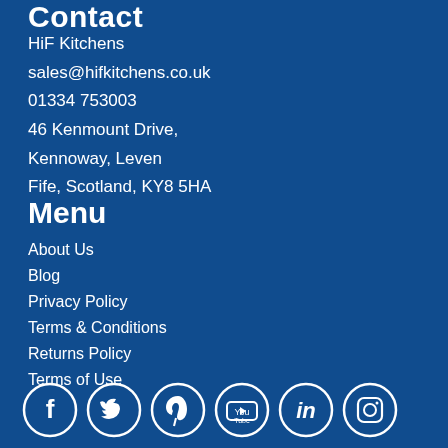Contact
HiF Kitchens
sales@hifkitchens.co.uk
01334 753003
46 Kenmount Drive,
Kennoway, Leven
Fife, Scotland, KY8 5HA
Menu
About Us
Blog
Privacy Policy
Terms & Conditions
Returns Policy
Terms of Use
[Figure (infographic): Six social media icons in white circles on blue background: Facebook, Twitter, Pinterest, YouTube, LinkedIn, Instagram]